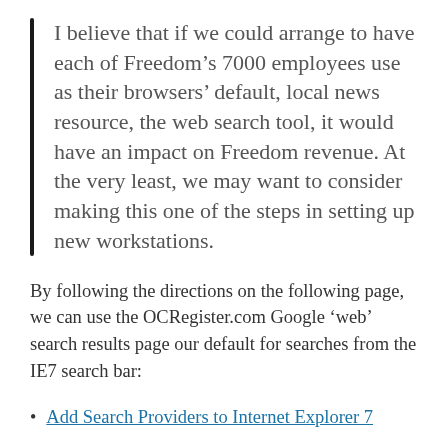I believe that if we could arrange to have each of Freedom’s 7000 employees use as their browsers’ default, local news resource, the web search tool, it would have an impact on Freedom revenue. At the very least, we may want to consider making this one of the steps in setting up new workstations.
By following the directions on the following page, we can use the OCRegister.com Google ‘web’ search results page our default for searches from the IE7 search bar:
Add Search Providers to Internet Explorer 7